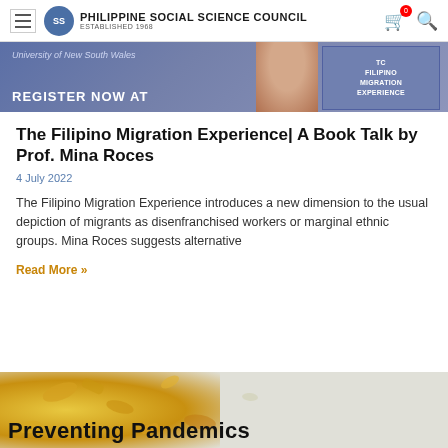Philippine Social Science Council — established 1968
[Figure (photo): Banner image for The Filipino Migration Experience book talk event — blue/purple gradient background with text 'University of New South Wales', 'REGISTER NOW AT', a woman's photo, and a book cover reading 'THE FILIPINO MIGRATION EXPERIENCE']
The Filipino Migration Experience| A Book Talk by Prof. Mina Roces
4 July 2022
The Filipino Migration Experience introduces a new dimension to the usual depiction of migrants as disenfranchised workers or marginal ethnic groups. Mina Roces suggests alternative
Read More »
[Figure (photo): Partial banner image for a second article titled 'Preventing Pandemics' with a gold/yellow illustrated map background]